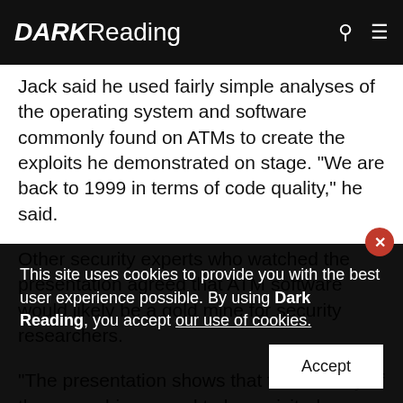DARKReading
Jack said he used fairly simple analyses of the operating system and software commonly found on ATMs to create the exploits he demonstrated on stage. "We are back to 1999 in terms of code quality," he said.
Other security experts who watched the presentation agreed that ATM software would likely be a gold mine for security researchers.
"The presentation shows that the security of these machines need to be revisited because they were nev…
This site uses cookies to provide you with the best user experience possible. By using Dark Reading, you accept our use of cookies.